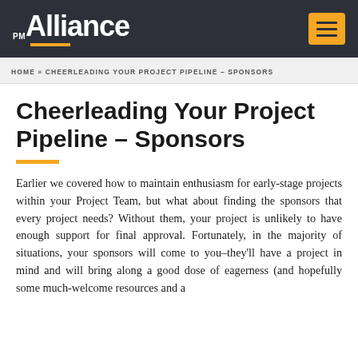PM Alliance
HOME » CHEERLEADING YOUR PROJECT PIPELINE – SPONSORS
Cheerleading Your Project Pipeline – Sponsors
Earlier we covered how to maintain enthusiasm for early-stage projects within your Project Team, but what about finding the sponsors that every project needs? Without them, your project is unlikely to have enough support for final approval. Fortunately, in the majority of situations, your sponsors will come to you–they'll have a project in mind and will bring along a good dose of eagerness (and hopefully some much-welcome resources and a